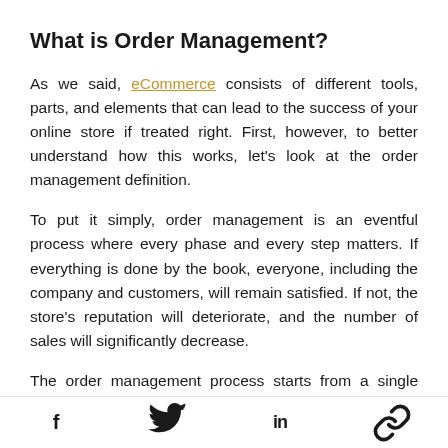What is Order Management?
As we said, eCommerce consists of different tools, parts, and elements that can lead to the success of your online store if treated right. First, however, to better understand how this works, let's look at the order management definition.
To put it simply, order management is an eventful process where every phase and every step matters. If everything is done by the book, everyone, including the company and customers, will remain satisfied. If not, the store's reputation will deteriorate, and the number of sales will significantly decrease.
The order management process starts from a single click
f  [twitter]  in  [link]